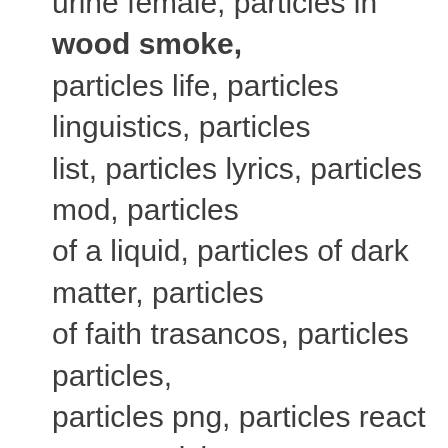urine female, particles in wood smoke, particles life, particles linguistics, particles list, particles lyrics, particles mod, particles of a liquid, particles of dark matter, particles of faith trasancos, particles particles, particles png, particles react npm, particles smaller than quark, particles synonym, particles.js, particleshop, particleshop corel, serums 101, serums 2019, serums 76, serums anoka menu, serums bar, serums def, serums fo76, serums for acne, serums for hair, serums for hair growth, serums for men, serums for sensitive skin, serums for wrinkles, serums in anoka, serums in anoka mn, serums mn, serums osrs, serums peru,